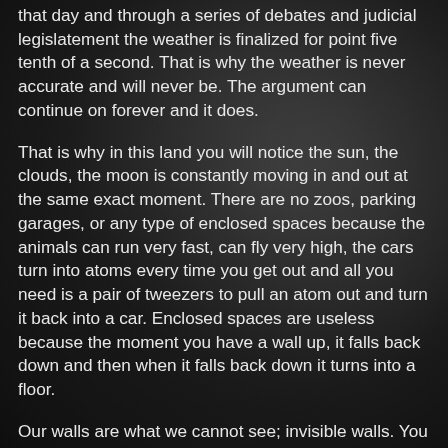that day and through a series of debates and judicial legislatement the weather is finalized for point five tenth of a second. That is why the weather is never accurate and will never be. The argument can continue on forever and it does.
That is why in this land you will notice the sun, the clouds, the moon is constantly moving in and out at the same exact moment. There are no zoos, parking garages, or any type of enclosed spaces because the animals can run very fast, can fly very high, the cars turn into atoms every time you get out and all you need is a pair of tweezers to pull an atom out and turn it back into a car. Enclosed spaces are useless because the moment you have a wall up, it falls back down and then when it falls back down it turns into a floor.
Our walls are what we cannot see; invisible walls. You can see right through them. But they are there for the protection of outside forces.
In this world, everyone knows that everything is absurd and ridiculous all around you so it reminds you of this every single day. It shows you that it is so ridiculous by showing